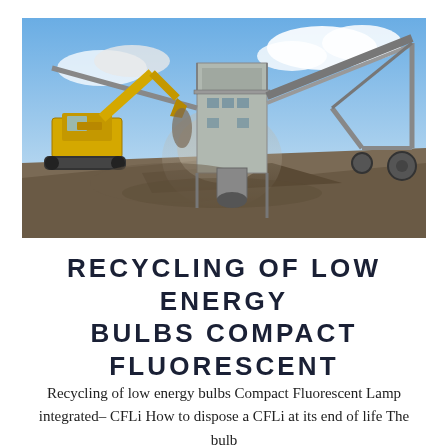[Figure (photo): Industrial mining or quarrying scene showing a yellow CAT excavator on the left scooping gravel, a large grey processing plant structure in the center with conveyor belts, dust rising, and blue sky with clouds in the background.]
RECYCLING OF LOW ENERGY BULBS COMPACT FLUORESCENT
Recycling of low energy bulbs Compact Fluorescent Lamp integrated– CFLi How to dispose a CFLi at its end of life The bulb